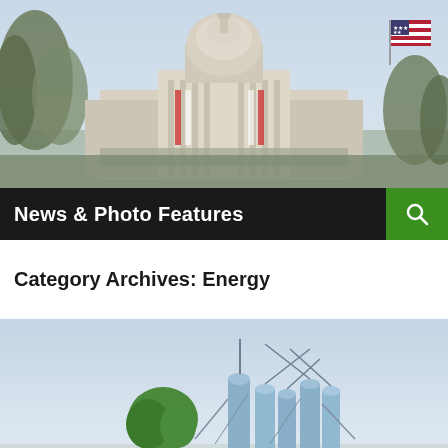[Figure (photo): Aerial/wide view of the US Capitol building during an inauguration ceremony, with crowds gathered, decorated with red, white, and blue banners. An American flag is visible in the upper right corner. Trees line the foreground.]
News & Photo Features
Category Archives: Energy
[Figure (photo): Industrial grain silos and metal storage tanks with a green tree in the foreground, against a hazy light blue sky. The scene suggests agricultural or energy infrastructure.]